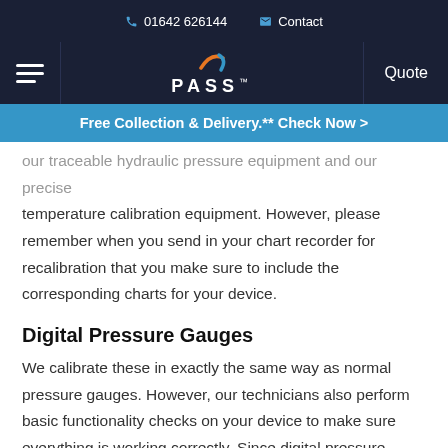01642 626144   Contact
[Figure (logo): PASS logo with orange/blue swoosh graphic above the text PASS]
Free Collection & Delivery.** Check Now >
our traceable hydraulic pressure equipment and our precise temperature calibration equipment. However, please remember when you send in your chart recorder for recalibration that you make sure to include the corresponding charts for your device.
Digital Pressure Gauges
We calibrate these in exactly the same way as normal pressure gauges. However, our technicians also perform basic functionality checks on your device to make sure everything is working correctly. Since digital pressure gauges often have